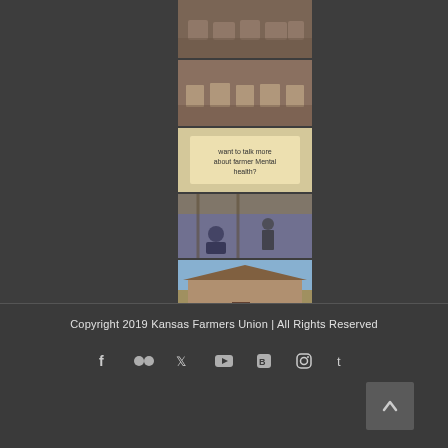[Figure (photo): Photo 1: People seated at tables indoors, restaurant or meeting setting]
[Figure (photo): Photo 2: People seated at tables, similar indoor setting]
[Figure (photo): Photo 3: Sign reading 'want to talk more about farmer mental health?']
[Figure (photo): Photo 4: Person sitting indoors under wooden beam ceiling, presenter standing in background]
[Figure (photo): Photo 5: Exterior of a rural farm building or shop with items outside]
Copyright 2019 Kansas Farmers Union | All Rights Reserved